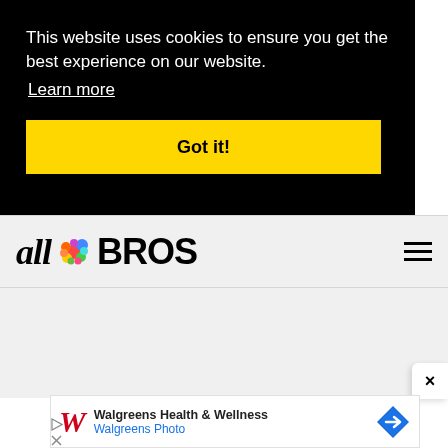This website uses cookies to ensure you get the best experience on our website.
Learn more
Got it!
[Figure (logo): all BROS logo with colorful flower/balloon cluster between 'all' in italic serif and 'BROS' in bold sans-serif]
[Figure (illustration): Hamburger menu icon (three horizontal lines)]
[Figure (screenshot): Walgreens Health & Wellness advertisement banner with Walgreens cursive W logo, text 'Walgreens Health & Wellness' and 'Walgreens Photo', and a blue diamond navigation icon]
×